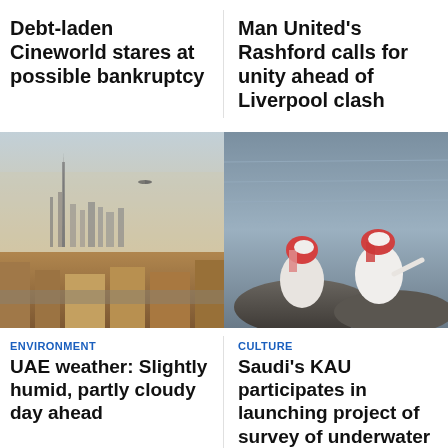Debt-laden Cineworld stares at possible bankruptcy
Man United's Rashford calls for unity ahead of Liverpool clash
[Figure (photo): Aerial view of Dubai skyline in hazy conditions with an airplane visible in the sky]
[Figure (photo): Two men in traditional Saudi white robes and red-checkered headdresses sitting on rocks by the sea, one pointing toward the water]
ENVIRONMENT
UAE weather: Slightly humid, partly cloudy day ahead
CULTURE
Saudi's KAU participates in launching project of survey of underwater